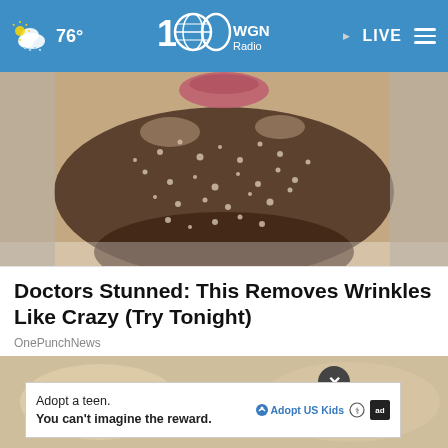76° WGN Radio LIVE
[Figure (photo): Close-up photo of a person's lower face and neck covered in a grainy salt or sugar scrub exfoliant]
Doctors Stunned: This Removes Wrinkles Like Crazy (Try Tonight)
OnePunchNews
[Figure (photo): Partial photo of hands or skin, partially obscured by an ad overlay with a close/X button]
Adopt a teen. You can't imagine the reward. AdoptUSKids ad